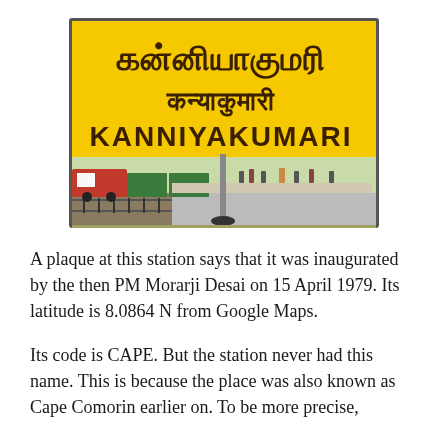[Figure (photo): Photo of Kanniyakumari railway station sign board in Tamil, Hindi, and English (KANNIYAKUMARI) in yellow, with a train platform and locomotive visible in the background.]
A plaque at this station says that it was inaugurated by the then PM Morarji Desai on 15 April 1979. Its latitude is 8.0864 N from Google Maps.
Its code is CAPE. But the station never had this name. This is because the place was also known as Cape Comorin earlier on. To be more precise,